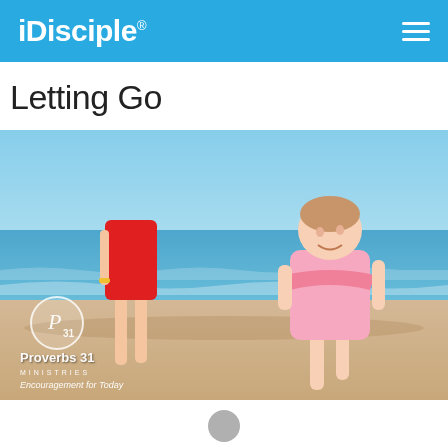iDisciple
Letting Go
[Figure (photo): A toddler girl in a pink dress running joyfully on a beach toward the camera, with a woman in a red dress visible in the background near the water's edge. Beach scene with blue ocean and sky. Proverbs 31 Ministries logo overlaid in lower left corner.]
Proverbs 31 Ministries — Encouragement for Today